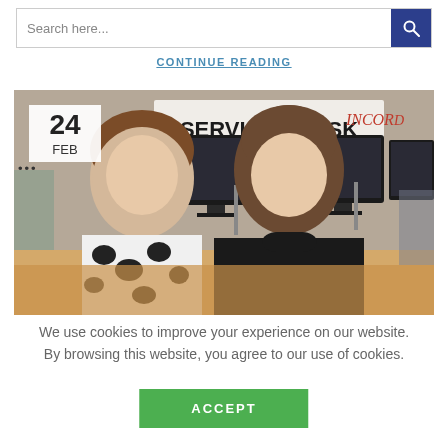Search here...
CONTINUE READING
[Figure (photo): Two women smiling at a services desk. A sign reads 'SERVICES DESK' in the background. One woman wears a black and white floral top, the other wears a black turtleneck sweater. Multiple computer monitors visible. A date badge showing '24 FEB' is overlaid in the top-left corner.]
We use cookies to improve your experience on our website. By browsing this website, you agree to our use of cookies.
ACCEPT